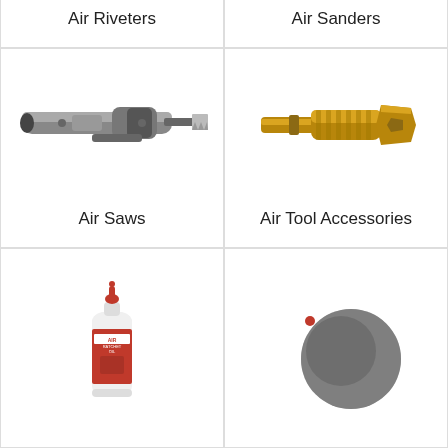[Figure (photo): Air Riveters tool - black pneumatic riveter gun]
Air Riveters
[Figure (photo): Air Sanders tool - red and black orbital sander with yellow pad]
Air Sanders
[Figure (photo): Air Saws tool - gray pneumatic reciprocating saw]
Air Saws
[Figure (photo): Air Tool Accessories - brass quick connect fitting]
Air Tool Accessories
[Figure (photo): Air tool oil bottle - white squeeze bottle with red label]
[Figure (photo): Gray sanding disc accessory]